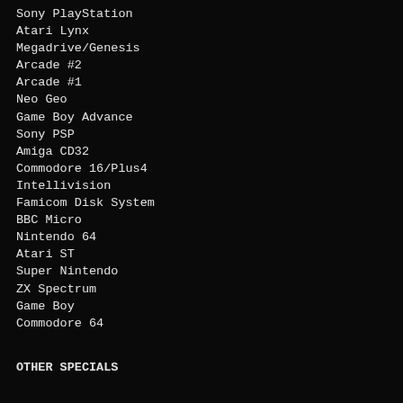Sony PlayStation
Atari Lynx
Megadrive/Genesis
Arcade #2
Arcade #1
Neo Geo
Game Boy Advance
Sony PSP
Amiga CD32
Commodore 16/Plus4
Intellivision
Famicom Disk System
BBC Micro
Nintendo 64
Atari ST
Super Nintendo
ZX Spectrum
Game Boy
Commodore 64
OTHER SPECIALS
Jeff Minter